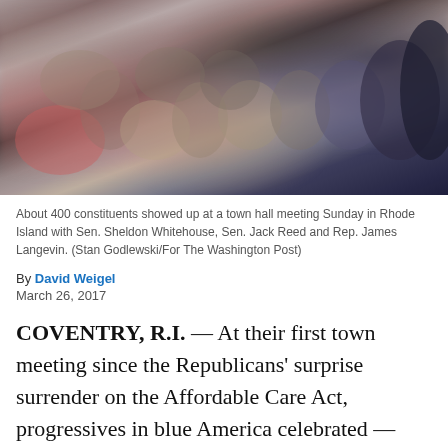[Figure (photo): Blurry crowd photo of about 400 constituents at a town hall meeting in Rhode Island]
About 400 constituents showed up at a town hall meeting Sunday in Rhode Island with Sen. Sheldon Whitehouse, Sen. Jack Reed and Rep. James Langevin. (Stan Godlewski/For The Washington Post)
By David Weigel
March 26, 2017
COVENTRY, R.I. — At their first town meeting since the Republicans' surprise surrender on the Affordable Care Act, progressives in blue America celebrated — then asked for more. Rhode Island's two Democratic senators,